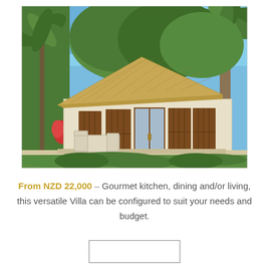[Figure (photo): Tropical villa with thatched roof, wooden louvered shutters, surrounded by palm trees and lush greenery, with outdoor patio furniture visible on the left.]
From NZD 22,000 – Gourmet kitchen, dining and/or living, this versatile Villa can be configured to suit your needs and budget.